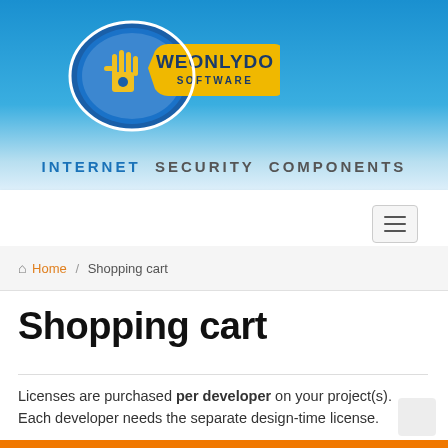[Figure (logo): WeOnlyDo Software logo — blue shield with yellow hand icon and text WEONLYDO SOFTWARE in yellow/white on blue badge]
INTERNET SECURITY COMPONENTS
[Figure (other): Navigation bar with hamburger menu button (three horizontal lines)]
Home / Shopping cart
Shopping cart
Licenses are purchased per developer on your project(s). Each developer needs the separate design-time license.